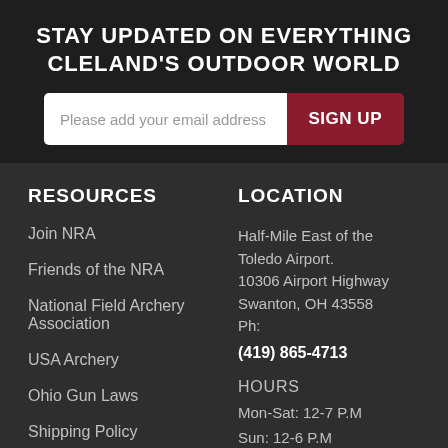STAY UPDATED ON EVERYTHING CLELAND'S OUTDOOR WORLD
RESOURCES
LOCATION
Join NRA
Friends of the NRA
National Field Archery Association
USA Archery
Ohio Gun Laws
Shipping Policy
Half-Mile East of the Toledo Airport.
10306 Airport Highway
Swanton, OH 43558
Ph:
(419) 865-4713

HOURS
Mon-Sat: 12-7 P.M
Sun: 12-6 P.M